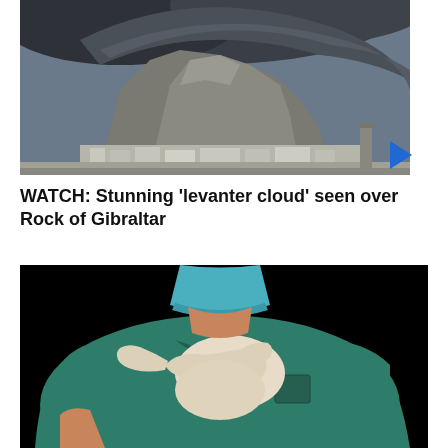[Figure (photo): Photograph of the Rock of Gibraltar with a dramatic levanter cloud formation swirling over the top. In the foreground there are airport buildings and a runway. The sky is dark and overcast. A blue play button triangle is overlaid at the bottom right of the image.]
WATCH: Stunning 'levanter cloud' seen over Rock of Gibraltar
[Figure (photo): Close-up photograph of a medical professional wearing green surgical scrubs and white latex gloves, pointing with one finger. The person is wearing a surgical mask. The background is black.]